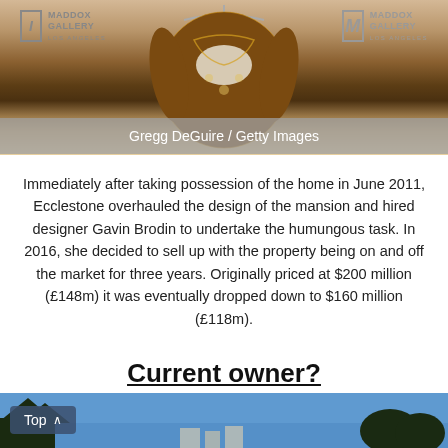[Figure (photo): Photo of an ornate embellished garment/dress on display against a white background, with Maddox Gallery Los Angeles logos visible on left and right sides.]
Gregg DeGuire / Getty Images
Immediately after taking possession of the home in June 2011, Ecclestone overhauled the design of the mansion and hired designer Gavin Brodin to undertake the humungous task. In 2016, she decided to sell up with the property being on and off the market for three years. Originally priced at $200 million (£148m) it was eventually dropped down to $160 million (£118m).
Current owner?
[Figure (photo): Partial photo showing blue sky and tree silhouettes at bottom of page.]